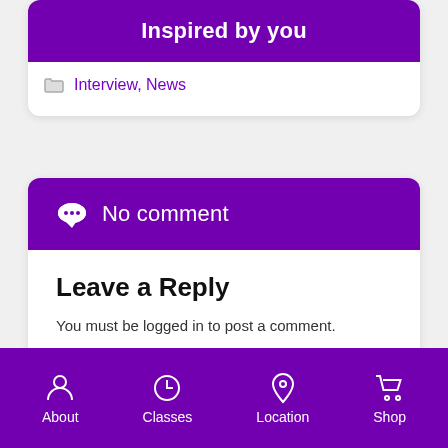Inspired by you
Interview, News
No comment
Leave a Reply
You must be logged in to post a comment.
About   Classes   Location   Shop